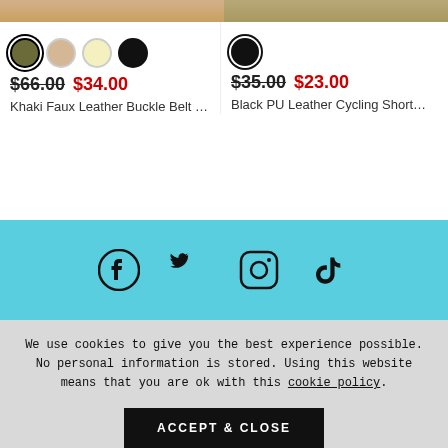[Figure (photo): Top image strip showing partial product photos cropped at top - left is a khaki/tan belt shorts product, right is a black PU leather cycling shorts product]
Color swatches: olive, tan, cream, black for product 1; black for product 2
$66.00 $34.00 | $35.00 $23.00
Khaki Faux Leather Buckle Belt Sh... | Black PU Leather Cycling Shorts - F...
[Figure (infographic): Social media icons bar on cyan background: Facebook, Twitter, Instagram, TikTok]
We use cookies to give you the best experience possible. No personal information is stored. Using this website means that you are ok with this cookie policy.
ACCEPT & CLOSE